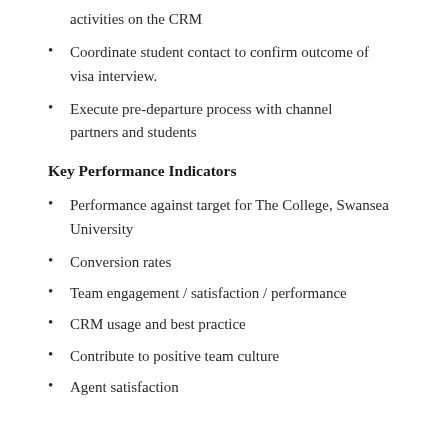activities on the CRM
Coordinate student contact to confirm outcome of visa interview.
Execute pre-departure process with channel partners and students
Key Performance Indicators
Performance against target for The College, Swansea University
Conversion rates
Team engagement / satisfaction / performance
CRM usage and best practice
Contribute to positive team culture
Agent satisfaction